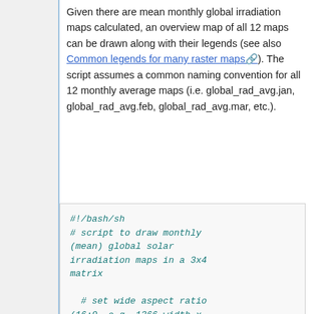Given there are mean monthly global irradiation maps calculated, an overview map of all 12 maps can be drawn along with their legends (see also Common legends for many raster maps). The script assumes a common naming convention for all 12 monthly average maps (i.e. global_rad_avg.jan, global_rad_avg.feb, global_rad_avg.mar, etc.).
#!/bash/sh
# script to draw monthly (mean) global solar irradiation maps in a 3x4 matrix

# set wide aspect ratio (16:9, e.g. 1366 width x 768 height)
d.monsize setm=x0
setw=1366, seth=768